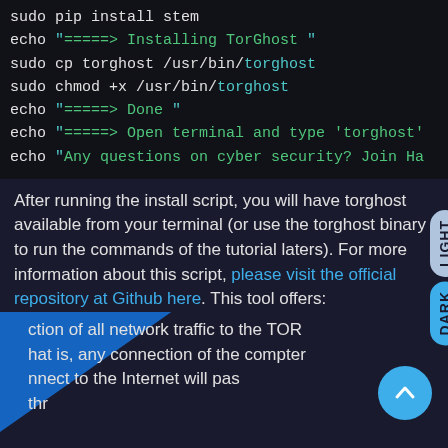sudo pip install stem
echo "=====> Installing TorGhost "
sudo cp torghost /usr/bin/torghost
sudo chmod +x /usr/bin/torghost
echo "=====> Done "
echo "=====> Open terminal and type 'torghost'
echo "Any questions on cyber security? Join Ha
After running the install script, you will have torghost available from your terminal (or use the torghost binary to run the commands of the tutorial laters). For more information about this script, please visit the official repository at Github here. This tool offers:
ction of all network traffic to the TOR
hat is, any connection of the computer
nnect to the Internet will pas
thr